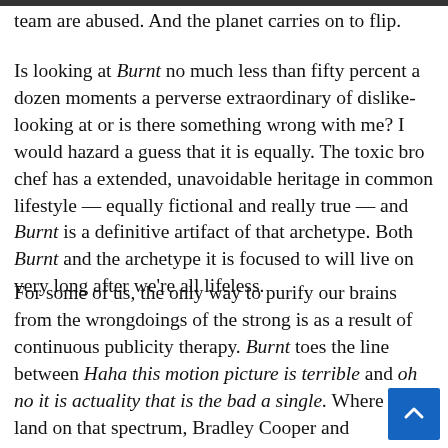team are abused. And the planet carries on to flip.
Is looking at Burnt no much less than fifty percent a dozen moments a perverse extraordinary of dislike-looking at or is there something wrong with me? I would hazard a guess that it is equally. The toxic bro chef has a extended, unavoidable heritage in common lifestyle — equally fictional and really true — and Burnt is a definitive artifact of that archetype. Both Burnt and the archetype it is focused to will live on very long after we're all lifeless.
For some of us, the only way to purify our brains from the wrongdoings of the strong is as a result of continuous publicity therapy. Burnt toes the line between Haha this motion picture is terrible and oh no it is actuality that is the bad a single. Where you land on that spectrum, Bradley Cooper and